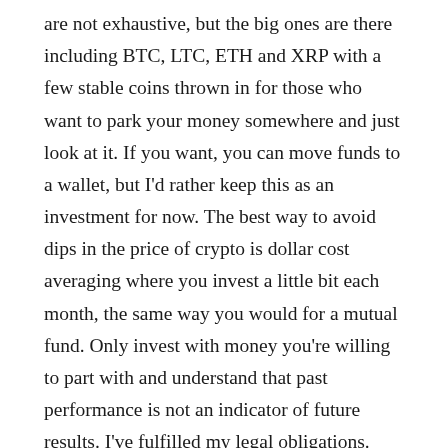are not exhaustive, but the big ones are there including BTC, LTC, ETH and XRP with a few stable coins thrown in for those who want to park your money somewhere and just look at it. If you want, you can move funds to a wallet, but I'd rather keep this as an investment for now. The best way to avoid dips in the price of crypto is dollar cost averaging where you invest a little bit each month, the same way you would for a mutual fund. Only invest with money you're willing to part with and understand that past performance is not an indicator of future results. I've fulfilled my legal obligations. Draw your own conclusions. Understanding the block chain is fairly straight forward. Think of a string of tickets that are all attached. Whenever you